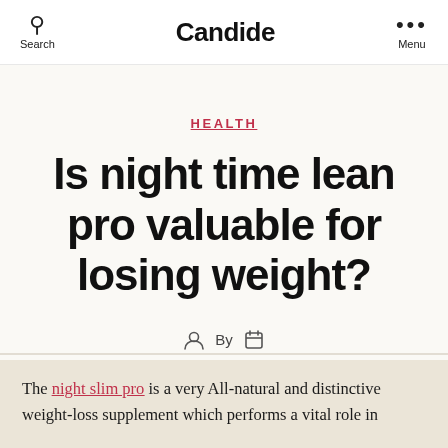Search | Candide | Menu
HEALTH
Is night time lean pro valuable for losing weight?
By
The night slim pro is a very All-natural and distinctive weight-loss supplement which performs a vital role in